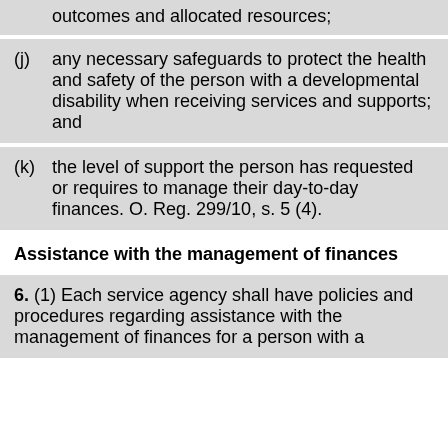outcomes and allocated resources;
(j) any necessary safeguards to protect the health and safety of the person with a developmental disability when receiving services and supports; and
(k) the level of support the person has requested or requires to manage their day-to-day finances. O. Reg. 299/10, s. 5 (4).
Assistance with the management of finances
6. (1) Each service agency shall have policies and procedures regarding assistance with the management of finances for a person with a